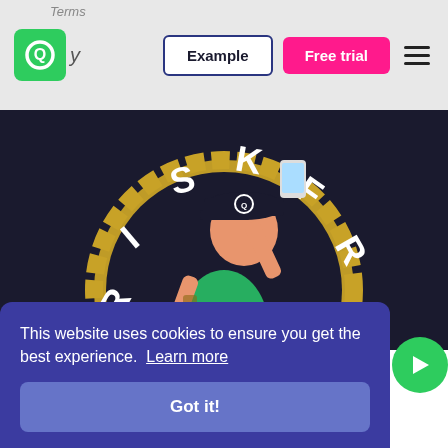Terms
[Figure (screenshot): Website navigation header with green Q logo, Example button (outlined), Free trial button (pink), and hamburger menu icon on grey background]
[Figure (illustration): Cartoon illustration of a man in a green Q-logo t-shirt and baseball cap taking a selfie, overlaid on a gold scalloped badge. The badge reads RISK FREE around the edge in large white letters on dark background.]
This website uses cookies to ensure you get the best experience. Learn more
Got it!